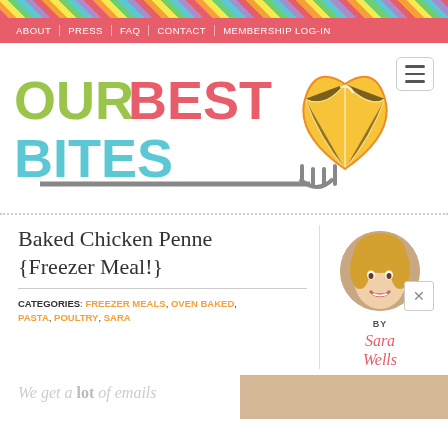ABOUT | PRESS | FAQ | CONTACT | MEMBERSHIP LOG-IN
[Figure (logo): Our Best Bites logo with colorful text and lemon heart with fork]
Baked Chicken Penne {Freezer Meal!}
CATEGORIES: FREEZER MEALS, OVEN BAKED, PASTA, POULTRY, SARA
[Figure (photo): Circular portrait photo of Sara Wells, blonde woman smiling]
BY Sara Wells
We get a lot of emails